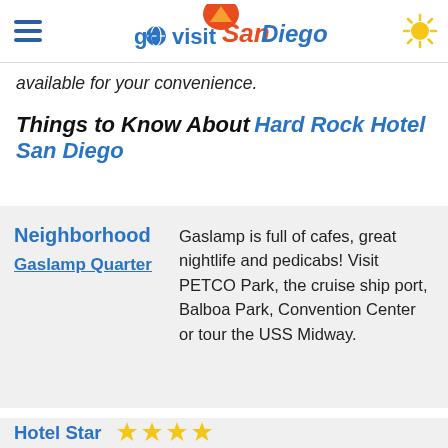go visit San Diego
available for your convenience.
Things to Know About Hard Rock Hotel San Diego
|  |  |
| --- | --- |
| Neighborhood
Gaslamp Quarter | Gaslamp is full of cafes, great nightlife and pedicabs! Visit PETCO Park, the cruise ship port, Balboa Park, Convention Center or tour the USS Midway. |
Hotel Star